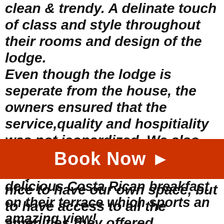clean & trendy. A delinate touch of class and style throughout their rooms and design of the lodge. Even though the lodge is seperate from the house, the owners ensured that the service,quality and hospitiality was not jeopardized. We also noted that their premises were very safe and secure. It was nice to have our own space, but to have access to all the amenities they offered.
[Figure (other): Red call-to-action button with text 'Book Now ►']
delicious Costa Rican breakfast on their terrace which sports an amazing view! Thank you for helping us discover a